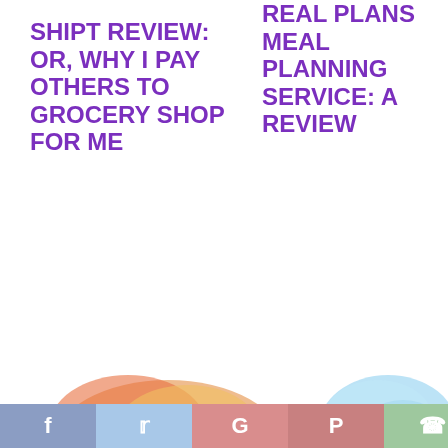SHIPT REVIEW: OR, WHY I PAY OTHERS TO GROCERY SHOP FOR ME
REAL PLANS MEAL PLANNING SERVICE: A REVIEW
[Figure (map): Colorful watercolor world map with red arrows pointing to different continents, labeled '18,000 MILES']
HOW FAR DOES YOUR FOOD TRAVEL?